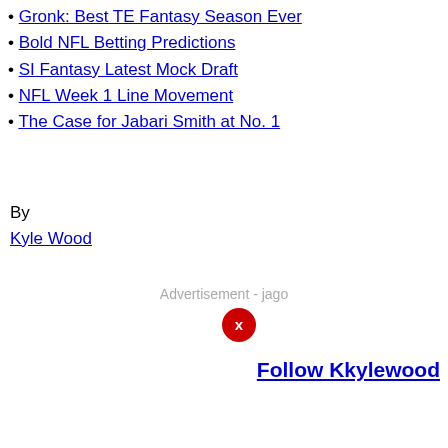• Gronk: Best TE Fantasy Season Ever
• Bold NFL Betting Predictions
• SI Fantasy Latest Mock Draft
• NFL Week 1 Line Movement
• The Case for Jabari Smith at No. 1
By
Kyle Wood
Advertisement - jago
Follow Kkylewood